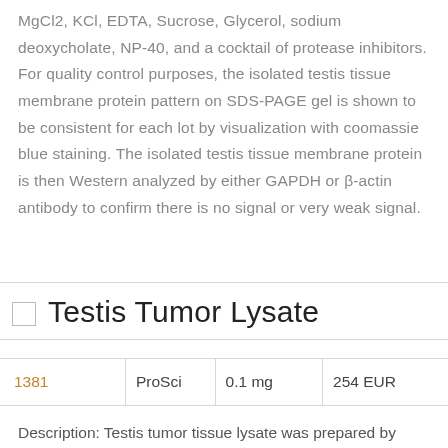MgCl2, KCl, EDTA, Sucrose, Glycerol, sodium deoxycholate, NP-40, and a cocktail of protease inhibitors. For quality control purposes, the isolated testis tissue membrane protein pattern on SDS-PAGE gel is shown to be consistent for each lot by visualization with coomassie blue staining. The isolated testis tissue membrane protein is then Western analyzed by either GAPDH or β-actin antibody to confirm there is no signal or very weak signal.
Testis Tumor Lysate
|  | ProSci | 0.1 mg | 254 EUR |
| --- | --- | --- | --- |
| 1381 | ProSci | 0.1 mg | 254 EUR |
Description: Testis tumor tissue lysate was prepared by homogenization in lysis buffer (10